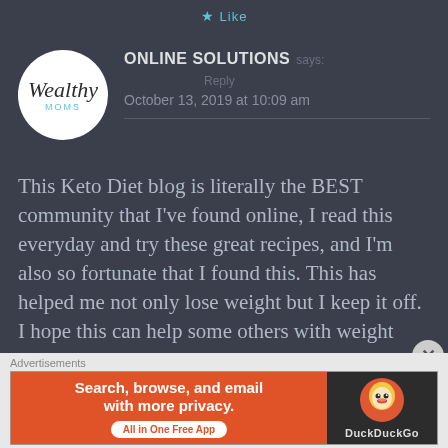Like
ONLINE SOLUTIONS says:
October 13, 2019 at 10:09 am
This Keto Diet blog is literally the BEST community that I've found online, I read this everyday and try these great recipes, and I'm also so fortunate that I found this. This has helped me not only lose weight but I keep it off. I hope this can help some others with weight loss and an overall
Advertisements
[Figure (screenshot): DuckDuckGo advertisement banner: orange left side with text 'Search, browse, and email with more privacy. All in One Free App' and dark right side with DuckDuckGo duck logo and 'DuckDuckGo' label]